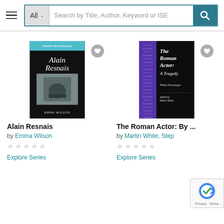[Figure (screenshot): Website search bar with hamburger menu, 'All' dropdown, search field reading 'Search by Title, Author, Keyword or ISE', and teal search button with magnifying glass icon]
[Figure (photo): Book cover: Alain Resnais by Emma Wilson. Black background with teal header 'French Film Directors', stylized text 'Alain Resnais' and a black-and-white photo of a person. Author name 'Emma Wilson' at bottom.]
Alain Resnais
by Emma Wilson
Explore Series
[Figure (photo): Book cover: The Roman Actor: A Tragedy by Philip Massinger, edited by Martin White. Black cover with purple spine showing repeated 'REVELS PLAYS THE' text. White italic title text on right.]
The Roman Actor: By ...
by Martin White, Step
Explore Series